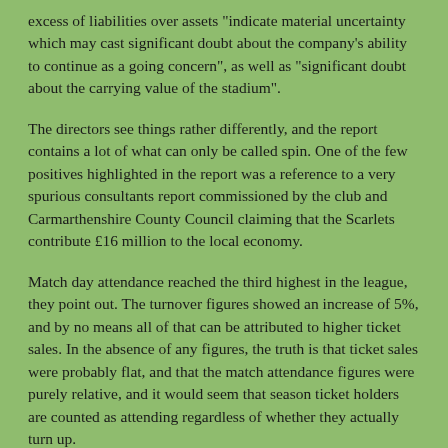excess of liabilities over assets "indicate material uncertainty which may cast significant doubt about the company's ability to continue as a going concern", as well as "significant doubt about the carrying value of the stadium".
The directors see things rather differently, and the report contains a lot of what can only be called spin. One of the few positives highlighted in the report was a reference to a very spurious consultants report commissioned by the club and Carmarthenshire County Council claiming that the Scarlets contribute £16 million to the local economy.
Match day attendance reached the third highest in the league, they point out. The turnover figures showed an increase of 5%, and by no means all of that can be attributed to higher ticket sales. In the absence of any figures, the truth is that ticket sales were probably flat, and that the match attendance figures were purely relative, and it would seem that season ticket holders are counted as attending regardless of whether they actually turn up.
"Administrative expenses" on the other hand rose by 11% to £3.82 million, and the bottom line was helped out by an unexplained